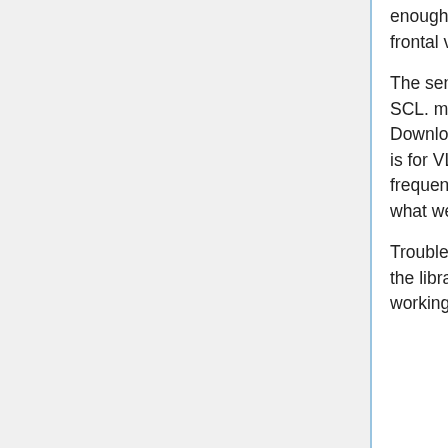enough to be able to detect the other car. If you have a human being mocking the frontal vehicle, mount wherever you like.
The sensor has four connections to make with the Arduino: GND, VCC, SDA, and SCL. make sure the connections are firm, and your soldering work is good. Download the sample code Continuous.ino from Pololulu or Github. Make sure it is for VL53L1X, not VL53L0X -- we got tipped over on that. change the sampling frequency. The datasheet recommends a maximum of 20Hz (50ms), and that is what we use.
Troubleshoot: if the serial prints "Fail to initialize sensor", make sure you are using the library and code for the specific sensor, and try testing with known good working sensors.